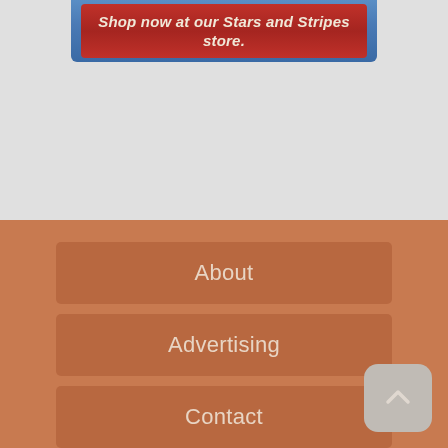[Figure (screenshot): Blue banner with red inner background reading 'Shop now at our Stars and Stripes store.' in bold italic cream text]
About
Advertising
Contact
Scroll to top button (chevron up icon)